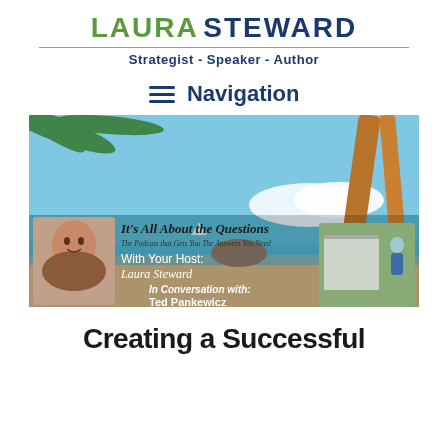LAURA STEWARD
Strategist - Speaker - Author
≡  Navigation
[Figure (photo): Podcast banner for 'It's All About the Questions – The Podcast that Gets You The Answers You Need', with host Laura Steward. Features a tropical beach/palm tree background, a headshot of Laura Steward, a photo of Ted Pankewicz near a building, and text: 'In Conversation with: Ted Pankewicz – Questioning: Non-Profit Success']
Creating a Successful